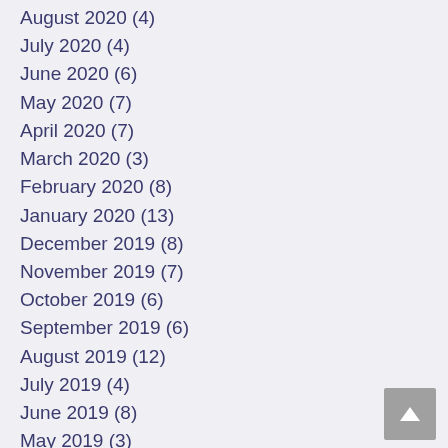August 2020 (4)
July 2020 (4)
June 2020 (6)
May 2020 (7)
April 2020 (7)
March 2020 (3)
February 2020 (8)
January 2020 (13)
December 2019 (8)
November 2019 (7)
October 2019 (6)
September 2019 (6)
August 2019 (12)
July 2019 (4)
June 2019 (8)
May 2019 (3)
April 2019 (7)
March 2019 (13)
February 2019 (8)